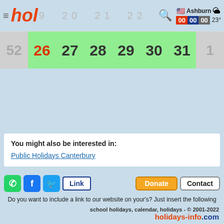hol 19 20 21 22 23 | Ashburn 00:00:00 23°
| 52 | 26 | 27 | 28 | 29 | 30 | 31 | 1 |
| --- | --- | --- | --- | --- | --- | --- | --- |
You might also be interested in:
Public Holidays Canterbury
Link | Donate | Contact
Do you want to include a link to our website on your's? Just insert the following HTML-code:
<a href="https://www.holidays-info.com/new-zealand/school-holidays/canterbury/" target="_blank">School Holidays Canterbury 2022, 2023,
school holidays, calendar, holidays - © 2001-2022 holidays-info.com